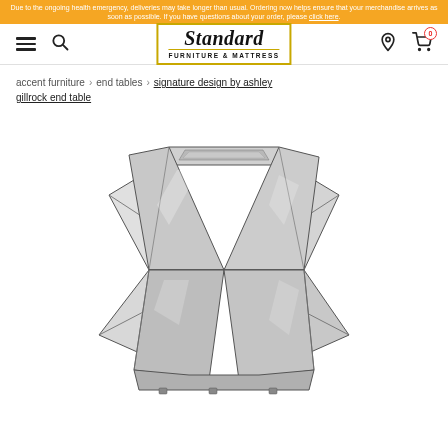Due to the ongoing health emergency, deliveries may take longer than usual. Ordering now helps ensure that your merchandise arrives as soon as possible. If you have questions about your order, please click here.
[Figure (logo): Standard Furniture & Mattress logo with italic serif font and gold border]
accent furniture > end tables > signature design by ashley gillrock end table
[Figure (photo): Product photo of a mirrored geometric end table with hourglass shape and faceted triangular mirror panels, shown on white background]